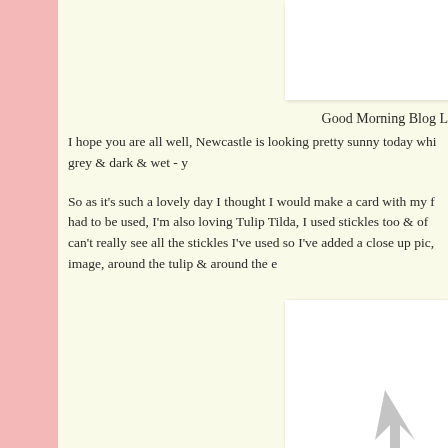[Figure (photo): White image box in top right area, partially cropped]
Good Morning Blog L
I hope you are all well, Newcastle is looking pretty sunny today whi grey & dark & wet - y
So as it's such a lovely day I thought I would make a card with my f had to be used, I'm also loving Tulip Tilda, I used stickles too & of can't really see all the stickles I've used so I've added a close up pic, image, around the tulip & around the e
[Figure (photo): White image box in bottom right area with a grey arrow/cursor shape partially visible]